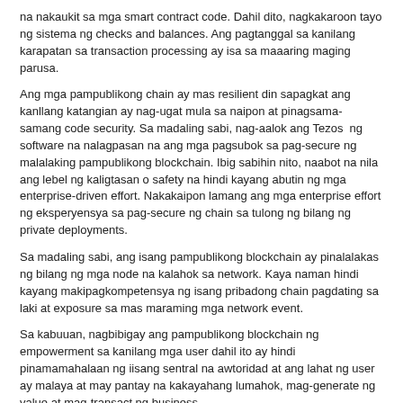na nakaukit sa mga smart contract code. Dahil dito, nagkakaroon tayo ng sistema ng checks and balances. Ang pagtanggal sa kanilang karapatan sa transaction processing ay isa sa maaaring maging parusa.
Ang mga pampublikong chain ay mas resilient din sapagkat ang kanllang katangian ay nag-ugat mula sa naipon at pinagsama-samang code security. Sa madaling sabi, nag-aalok ang Tezos  ng software na nalagpasan na ang mga pagsubok sa pag-secure ng malalaking pampublikong blockchain. Ibig sabihin nito, naabot na nila ang lebel ng kaligtasan o safety na hindi kayang abutin ng mga enterprise-driven effort. Nakakaipon lamang ang mga enterprise effort ng eksperyensya sa pag-secure ng chain sa tulong ng bilang ng private deployments.
Sa madaling sabi, ang isang pampublikong blockchain ay pinalalakas ng bilang ng mga node na kalahok sa network. Kaya naman hindi kayang makipagkompetensya ng isang pribadong chain pagdating sa laki at exposure sa mas maraming mga network event.
Sa kabuuan, nagbibigay ang pampublikong blockchain ng empowerment sa kanilang mga user dahil ito ay hindi pinamamahalaan ng iisang sentral na awtoridad at ang lahat ng user ay malaya at may pantay na kakayahang lumahok, mag-generate ng value at mag-transact ng business.
Siyempre, ang mga enterprise na gumagamit ng pampublikong blockchain ay kailangan sumunod sa batas ng bansa kung saan nila ino-operate ang kanilang node (o mga node), partikular na sa ilalim ng regulasyong Know Your Customer (KYC) at Anti-Money Laundering (AML).